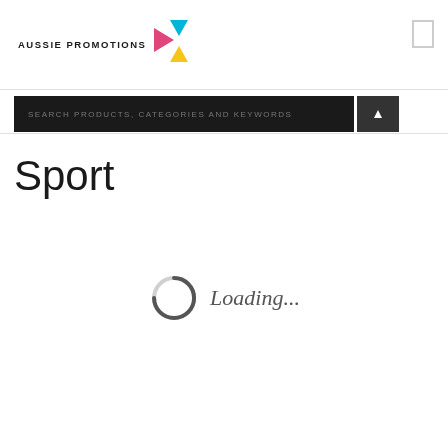[Figure (logo): Aussie Promotions logo with colorful pinwheel/fan shape in pink, cyan and yellow, with bold uppercase text 'AUSSIE PROMOTIONS']
SEARCH PRODUCTS, CATEGORIES AND KEYWORDS
Sport
[Figure (illustration): Loading spinner circle (gray ring with dark arc at bottom-right) followed by italic text 'Loading...']